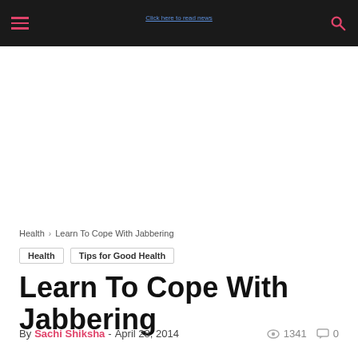Navigation bar with hamburger menu, center link, and search icon
Health › Learn To Cope With Jabbering
Health   Tips for Good Health
Learn To Cope With Jabbering
By Sachi Shiksha - April 28, 2014   1341   0